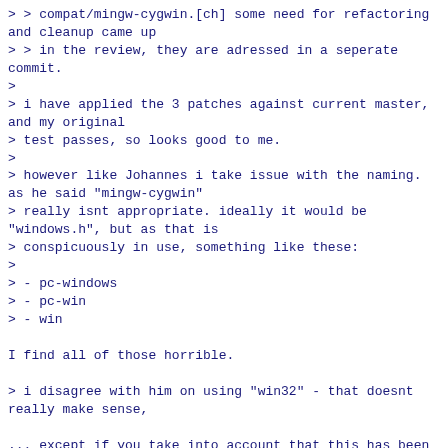> > compat/mingw-cygwin.[ch] some need for refactoring and cleanup came up
> > in the review, they are adressed in a seperate commit.
>
> i have applied the 3 patches against current master, and my original
> test passes, so looks good to me.
>
> however like Johannes i take issue with the naming. as he said "mingw-cygwin"
> really isnt appropriate. ideally it would be "windows.h", but as that is
> conspicuously in use, something like these:
>
> - pc-windows
> - pc-win
> - win

I find all of those horrible.

> i disagree with him on using "win32" - that doesnt really make sense,

... except if you take into account that this has been our convention for,
what, almost 9 years (since 44626dc7d5 (MSVC: Windows-native
implementation for subset of Pthreads API, 2010-01-15),
to be precise)? In